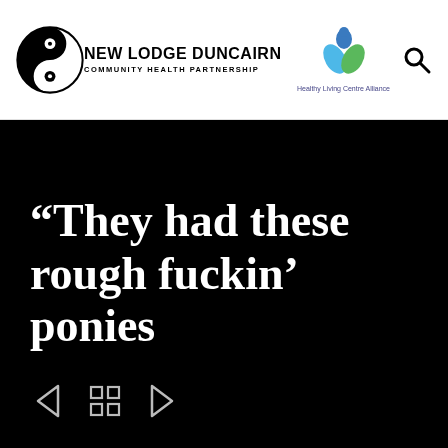[Figure (logo): New Lodge Duncairn Community Health Partnership logo with yin-yang symbol, Healthy Living Centre Alliance logo, and search icon]
“They had these rough fuckin’ ponies
[Figure (other): Navigation controls: back arrow, grid/menu icon, forward arrow]